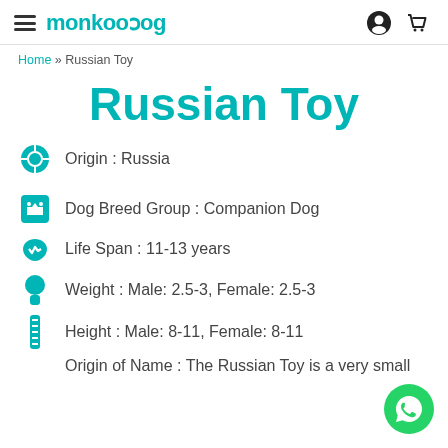monkoodog
Home » Russian Toy
Russian Toy
Origin : Russia
Dog Breed Group : Companion Dog
Life Span : 11-13 years
Weight : Male: 2.5-3, Female: 2.5-3
Height : Male: 8-11, Female: 8-11
Origin of Name : The Russian Toy is a very small